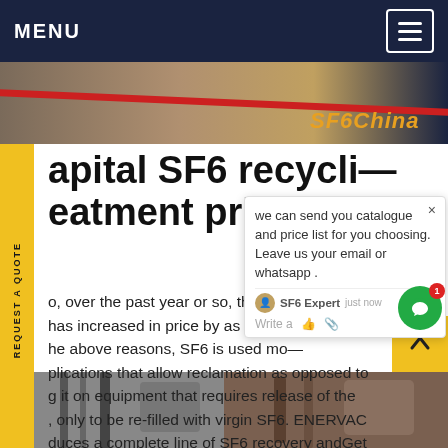MENU
[Figure (photo): Hero banner image showing industrial equipment with a red diagonal line; 'SF6China' text overlay in orange]
REQUEST A QUOTE
apital SF6 recycli— eatment prices
o, over the past year or so, the p— SF— has increased in price by as lo— Due he above reasons, SF6 is used mo— plications that allow reclamation as opposed to g it on equipment that requires release of the , only to be re-filled with virgin SF6. ENERVAC duces a complete line of SF6 recovery andGet price
[Figure (screenshot): Chat popup overlay: 'we can send you catalogue and price list for you choosing. Leave us your email or whatsapp .' with SF6 Expert avatar and just now timestamp, and a write/thumbs-up/attachment row]
[Figure (photo): Bottom strip showing two industrial/electrical equipment photos side by side]